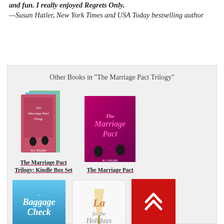and fun. I really enjoyed Regrets Only. —Susan Hatler, New York Times and USA Today bestselling author
Other Books in "The Marriage Pact Trilogy"
[Figure (illustration): Book cover for The Marriage Pact Trilogy: Kindle Box Set — a box set of multiple books with colorful spines]
The Marriage Pact Trilogy: Kindle Box Set
[Figure (illustration): Book cover for The Marriage Pact — magenta/pink cover with silhouettes]
The Marriage Pact
[Figure (illustration): Book cover for Baggage Check — blue cover with silhouettes of people]
[Figure (illustration): Book cover for Love for the Holidays — white cover with champagne glass]
[Figure (other): Red scroll-to-top button with double chevron arrows pointing up]